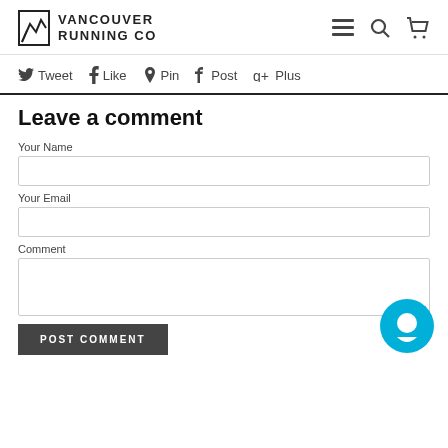[Figure (logo): Vancouver Running Co logo with mountain/running icon and bold text]
Vancouver Running Co header with navigation icons: menu, search, cart
Tweet
Like
Pin
Post
Plus
Leave a comment
Your Name
Your Email
Comment
POST COMMENT